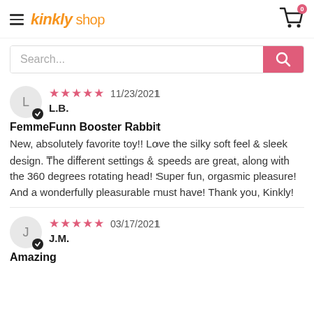Kinkly shop — navigation header with hamburger menu and cart icon (0 items)
Search...
★★★★★ 11/23/2021
L.B.
FemmeFunn Booster Rabbit
New, absolutely favorite toy!! Love the silky soft feel & sleek design. The different settings & speeds are great, along with the 360 degrees rotating head! Super fun, orgasmic pleasure! And a wonderfully pleasurable must have! Thank you, Kinkly!
★★★★★ 03/17/2021
J.M.
Amazing